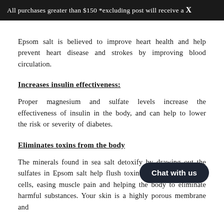All purchases greater than $150 *excluding post will receive a X
Epsom salt is believed to improve heart health and help prevent heart disease and strokes by improving blood circulation.
Increases insulin effectiveness:
Proper magnesium and sulfate levels increase the effectiveness of insulin in the body, and can help to lower the risk or severity of diabetes.
Eliminates toxins from the body
The minerals found in sea salt detoxify by drawing out the sulfates in Epsom salt help flush toxins and waste from the cells, easing muscle pain and helping the body to eliminate harmful substances. Your skin is a highly porous membrane and